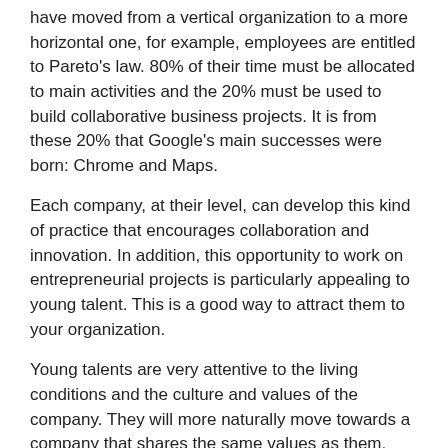have moved from a vertical organization to a more horizontal one, for example, employees are entitled to Pareto's law. 80% of their time must be allocated to main activities and the 20% must be used to build collaborative business projects. It is from these 20% that Google's main successes were born: Chrome and Maps.
Each company, at their level, can develop this kind of practice that encourages collaboration and innovation. In addition, this opportunity to work on entrepreneurial projects is particularly appealing to young talent. This is a good way to attract them to your organization.
Young talents are very attentive to the living conditions and the culture and values of the company. They will more naturally move towards a company that shares the same values as them.
Once recruitment is completed, companies must also work on building loyalty and this requires an integration process. Integrating an employee means ensuring that he or she finds his or her place in the environment. If he does not find his